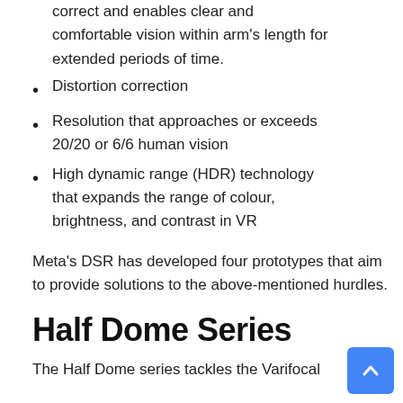correct and enables clear and comfortable vision within arm's length for extended periods of time.
Distortion correction
Resolution that approaches or exceeds 20/20 or 6/6 human vision
High dynamic range (HDR) technology that expands the range of colour, brightness, and contrast in VR
Meta's DSR has developed four prototypes that aim to provide solutions to the above-mentioned hurdles.
Half Dome Series
The Half Dome series tackles the Varifocal